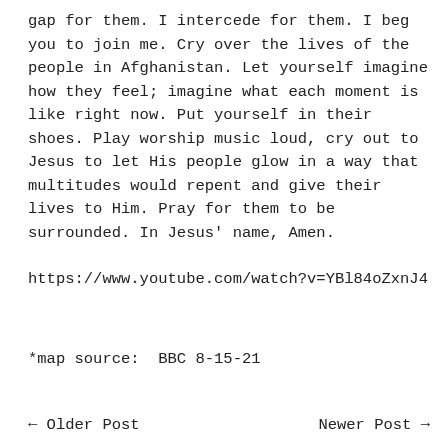gap for them. I intercede for them. I beg you to join me. Cry over the lives of the people in Afghanistan. Let yourself imagine how they feel; imagine what each moment is like right now. Put yourself in their shoes. Play worship music loud, cry out to Jesus to let His people glow in a way that multitudes would repent and give their lives to Him. Pray for them to be surrounded. In Jesus' name, Amen.
https://www.youtube.com/watch?v=YBl84oZxnJ4
*map source:  BBC 8-15-21
← Older Post
Newer Post →